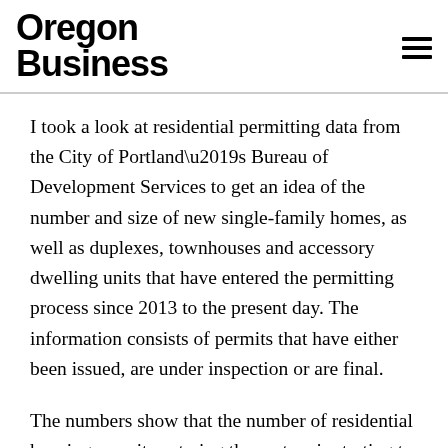Oregon Business
I took a look at residential permitting data from the City of Portland’s Bureau of Development Services to get an idea of the number and size of new single-family homes, as well as duplexes, townhouses and accessory dwelling units that have entered the permitting process since 2013 to the present day. The information consists of permits that have either been issued, are under inspection or are final.
The numbers show that the number of residential housing permits entering the system is starting to slow for single-family homes, duplexes and townhouses, a sign that available land for